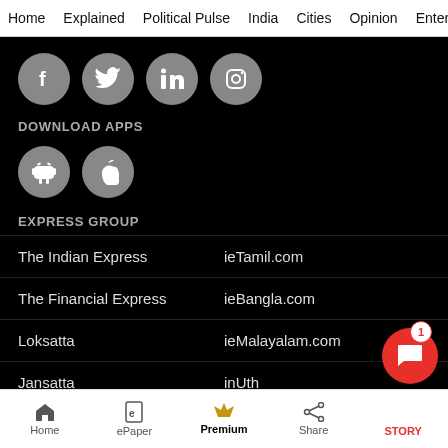Home  Explained  Political Pulse  India  Cities  Opinion  Entertainment
[Figure (infographic): Row of four social media icon circles: Facebook, Twitter, LinkedIn, Instagram — grey circles with white icons on black background]
DOWNLOAD APPS
[Figure (infographic): Two grey circles with Android robot icon and Apple logo for app downloads]
EXPRESS GROUP
The Indian Express	ieTamil.com
The Financial Express	ieBangla.com
Loksatta	ieMalayalam.com
Jansatta	inUth
Home  ePaper  Premium  Share  STORY